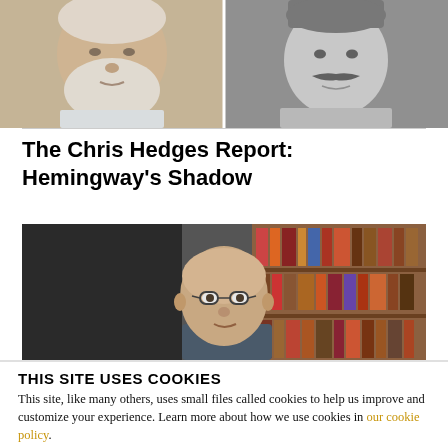[Figure (photo): Two photos side by side: left is an elderly man with white beard (color photo), right is a black and white photo of a man with a mustache (Hemingway).]
The Chris Hedges Report: Hemingway's Shadow
[Figure (photo): A bald man with glasses sits in front of a bookshelf filled with books.]
THIS SITE USES COOKIES
This site, like many others, uses small files called cookies to help us improve and customize your experience. Learn more about how we use cookies in our cookie policy.
Learn more about cookies
OK